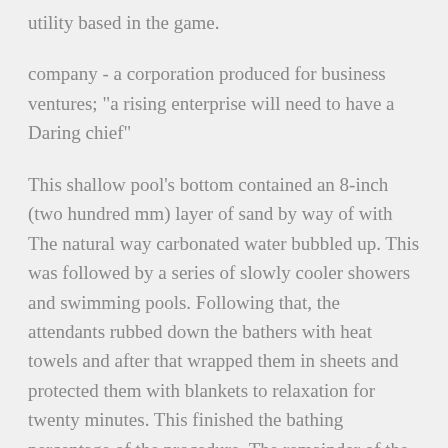utility based in the game.
company - a corporation produced for business ventures; "a rising enterprise will need to have a Daring chief"
This shallow pool's bottom contained an 8-inch (two hundred mm) layer of sand by way of with The natural way carbonated water bubbled up. This was followed by a series of slowly cooler showers and swimming pools. Following that, the attendants rubbed down the bathers with heat towels and after that wrapped them in sheets and protected them with blankets to relaxation for twenty minutes. This finished the bathing percentage of the procedure. The remainder of the treatment consisted of a prescribed diet program, exercising, and drinking water-ingesting application.